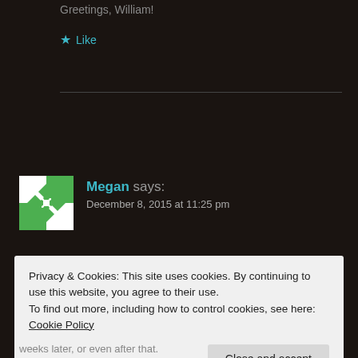Greetings, William!
★ Like
Megan says:
December 8, 2015 at 11:25 pm
Privacy & Cookies: This site uses cookies. By continuing to use this website, you agree to their use.
To find out more, including how to control cookies, see here: Cookie Policy
Close and accept
weeks later, or even after that.